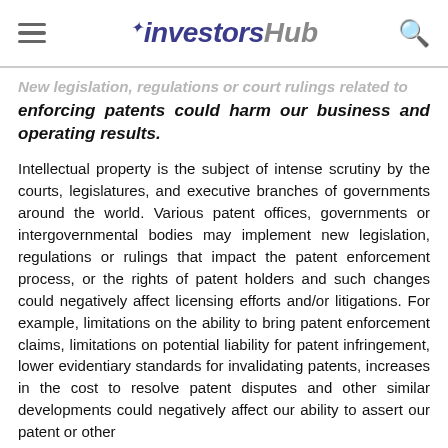investorsHub
New legislation, regulations or court rulings related to enforcing patents could harm our business and operating results.
Intellectual property is the subject of intense scrutiny by the courts, legislatures, and executive branches of governments around the world. Various patent offices, governments or intergovernmental bodies may implement new legislation, regulations or rulings that impact the patent enforcement process, or the rights of patent holders and such changes could negatively affect licensing efforts and/or litigations. For example, limitations on the ability to bring patent enforcement claims, limitations on potential liability for patent infringement, lower evidentiary standards for invalidating patents, increases in the cost to resolve patent disputes and other similar developments could negatively affect our ability to assert our patent or other